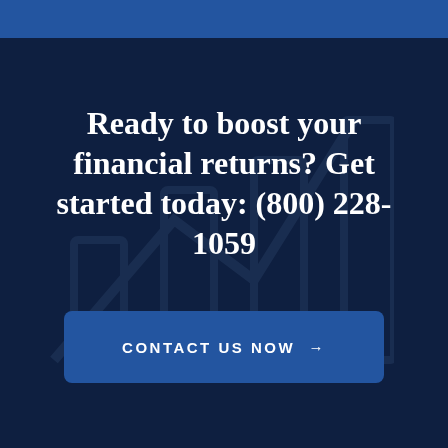Ready to boost your financial returns? Get started today: (800) 228-1059
CONTACT US NOW →